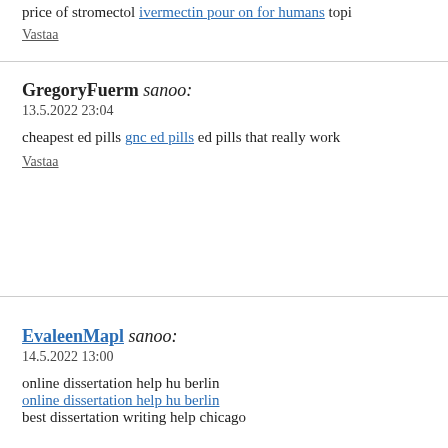price of stromectol ivermectin pour on for humans topi
Vastaa
GregoryFuerm sanoo:
13.5.2022 23:04
cheapest ed pills gnc ed pills ed pills that really work
Vastaa
EvaleenMapl sanoo:
14.5.2022 13:00
online dissertation help hu berlin
online dissertation help hu berlin
best dissertation writing help chicago